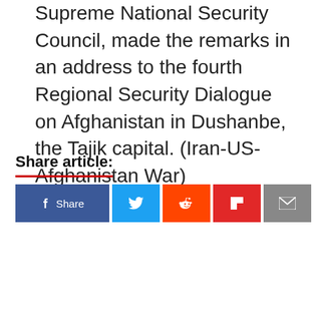Supreme National Security Council, made the remarks in an address to the fourth Regional Security Dialogue on Afghanistan in Dushanbe, the Tajik capital. (Iran-US-Afghanistan War)
Share article:
[Figure (infographic): Social share buttons: Facebook (Share), Twitter, Reddit, Flipboard, Email]